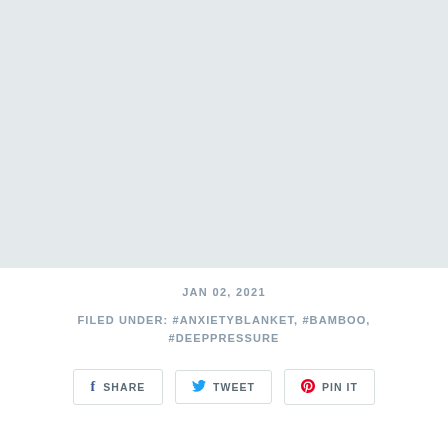[Figure (other): Large light gray placeholder block occupying the upper portion of the page]
JAN 02, 2021
FILED UNDER: #ANXIETYBLANKET, #BAMBOO, #DEEPPRESSURE
SHARE   TWEET   PIN IT